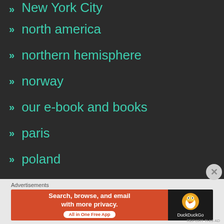» New York City
» north america
» northern hemisphere
» norway
» our e-book and books
» paris
» poland
» Portuguese
» postivity
» Prague
» Rio
» Rio de Janeiro
Advertisements
[Figure (screenshot): DuckDuckGo advertisement banner: 'Search, browse, and email with more privacy. All in One Free App' on orange background with DuckDuckGo duck logo on dark background.]